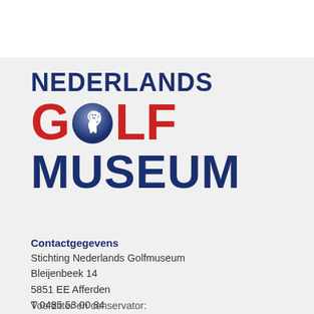[Figure (logo): Nederlands Golf Museum logo with lion golf ball graphic. 'NEDERLANDS' in dark navy bold, 'GOLF' in red bold with a circle containing a white lion rampant replacing the 'O', 'MUSEUM' in dark navy bold.]
Contactgegevens
Stichting Nederlands Golfmuseum
Bleijenbeek 14
5851 EE Afferden
T 0485 53 00 84
E info@golfmuseum.nl
Voorzitter en conservator: